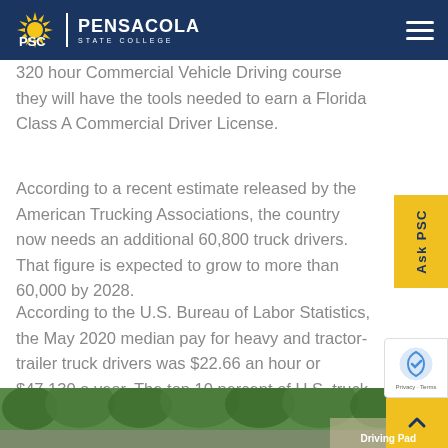PSC | PENSACOLA STATE COLLEGE
320 hour Commercial Vehicle Driving course they will have the tools needed to earn a Florida Class A Commercial Driver License.
According to a recent estimate released by the American Trucking Associations, the country now needs an additional 60,800 truck drivers. That figure is expected to grow to more than 60,000 by 2028.
According to the U.S. Bureau of Labor Statistics, the May 2020 median pay for heavy and tractor-trailer truck drivers was $22.66 an hour or $47,130 a year. The top 10 percent of U.S. truck drivers earn about $70,000 or high
[Figure (photo): Driving pad area with trees in background]
Driving Pad